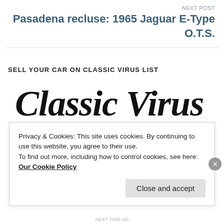NEXT POST
Pasadena recluse: 1965 Jaguar E-Type O.T.S.
SELL YOUR CAR ON CLASSIC VIRUS LIST
[Figure (logo): Classic Virus script logo in black cursive lettering]
[Figure (photo): Partial view of a gray/silver classic car roof]
Privacy & Cookies: This site uses cookies. By continuing to use this website, you agree to their use.
To find out more, including how to control cookies, see here: Our Cookie Policy
Close and accept